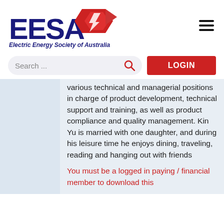[Figure (logo): EESA logo with red kangaroo/lightning bolt graphic and text 'EESA Electric Energy Society of Australia']
Search ...
LOGIN
various technical and managerial positions in charge of product development, technical support and training, as well as product compliance and quality management. Kin Yu is married with one daughter, and during his leisure time he enjoys dining, traveling, reading and hanging out with friends
You must be a logged in paying / financial member to download this